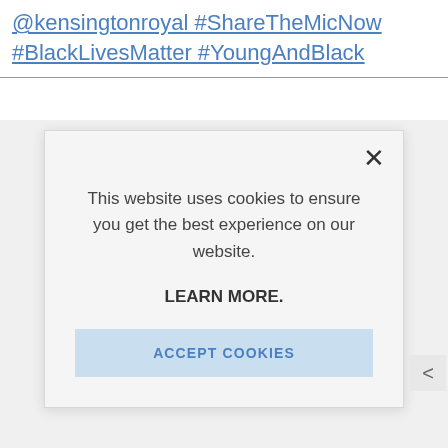@kensingtonroyal #ShareTheMicNow #BlackLivesMatter #YoungAndBlack
[Figure (screenshot): Cookie consent modal dialog overlaid on a webpage. The modal has a close (X) button in the top right. Text reads: 'This website uses cookies to ensure you get the best experience on our website.' followed by 'LEARN MORE.' and an 'ACCEPT COOKIES' button in light blue.]